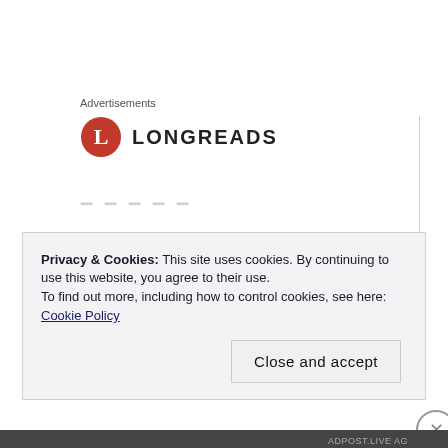Advertisements
[Figure (logo): Longreads logo — red circle with white 'L' letter, followed by bold text 'LONGREADS']
now back to the Domain join without a reboot we can join the VM direct to the Classic Active directory.
Privacy & Cookies: This site uses cookies. By continuing to use this website, you agree to their use.
To find out more, including how to control cookies, see here: Cookie Policy
Close and accept